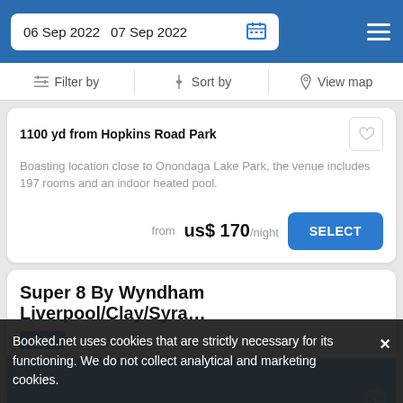06 Sep 2022  07 Sep 2022
Filter by  Sort by  View map
1100 yd from Hopkins Road Park
Boasting location close to Onondaga Lake Park, the venue includes 197 rooms and an indoor heated pool.
from  us$ 170/night  SELECT
Super 8 By Wyndham Liverpool/Clay/Syra…
Hotel
Booked.net uses cookies that are strictly necessary for its functioning. We do not collect analytical and marketing cookies.